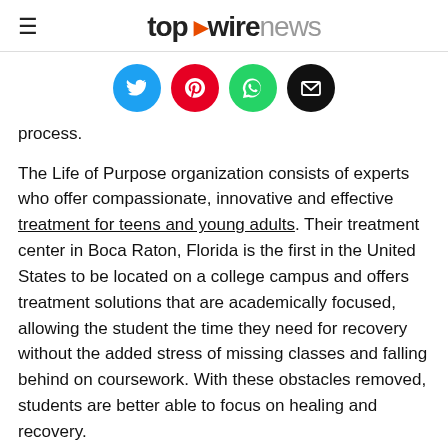topwirenews
[Figure (other): Social sharing icons row: Twitter (blue), Pinterest (red), WhatsApp (green), Email (black)]
process.
The Life of Purpose organization consists of experts who offer compassionate, innovative and effective treatment for teens and young adults. Their treatment center in Boca Raton, Florida is the first in the United States to be located on a college campus and offers treatment solutions that are academically focused, allowing the student the time they need for recovery without the added stress of missing classes and falling behind on coursework. With these obstacles removed, students are better able to focus on healing and recovery.
“With our Boca Raton location being located on a college campus, we see first hand the challenges that young adults